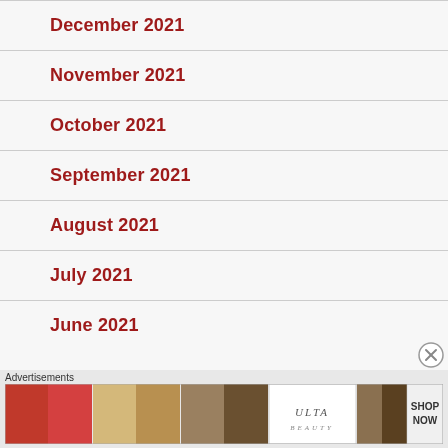December 2021
November 2021
October 2021
September 2021
August 2021
July 2021
June 2021
[Figure (infographic): Ulta Beauty advertisement banner showing makeup photos (lips, brush, eye, Ulta logo, eyes) with SHOP NOW call to action]
Advertisements